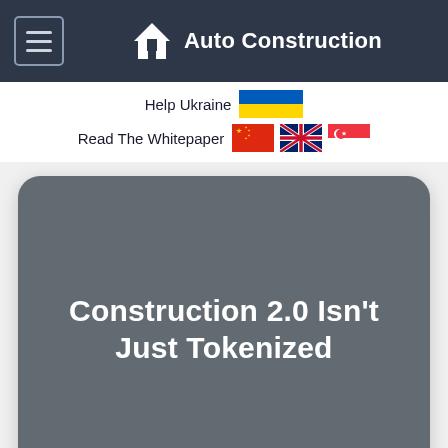Auto Construction
Help Ukraine
Read The Whitepaper
Construction 2.0 Isn't Just Tokenized